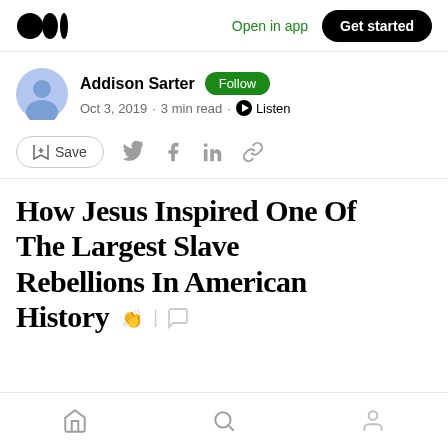Medium — Open in app · Get started
Addison Sarter · Follow · Oct 3, 2019 · 3 min read · Listen
Save
How Jesus Inspired One Of The Largest Slave Rebellions In American History
Home · Search · Profile